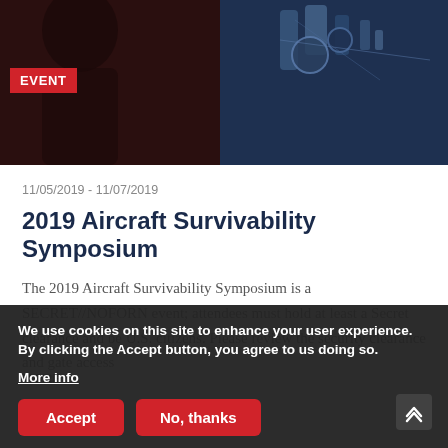[Figure (photo): Dark hero image showing silhouette of a person on the left and blue robotic/aircraft equipment on the right]
EVENT
11/05/2019 - 11/07/2019
2019 Aircraft Survivability Symposium
The 2019 Aircraft Survivability Symposium is a SECRET//NOFORN event; attendees must hold at least a Secret clearance and be U.S. citizens. Please review the security clearance and gate access
MORE >
We use cookies on this site to enhance your user experience. By clicking the Accept button, you agree to us doing so.
More info
Accept
No, thanks